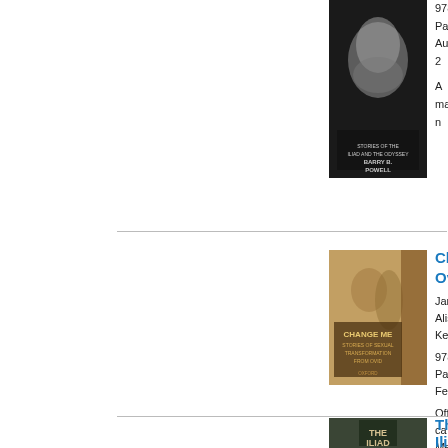[Figure (photo): Book cover with dark background showing ancient Greek sculpture of a bearded man's face]
9780199
Paperback
August 2

A major n
[Figure (photo): Book cover of 'Change Me: Stories of Sexual Transformation from Ovid' with warm terracotta tones showing classical figures]
Change Me: Stories of Sexual Transformation from Ovid
Jane Alis
Keith

9780199
Paperback
February

Offers ca
Metamorp
enlivened
[Figure (photo): Book cover of 'The Iliad' with dark green/black tones showing a castle or fortress image]
The Iliad
Barry B. P

9780199